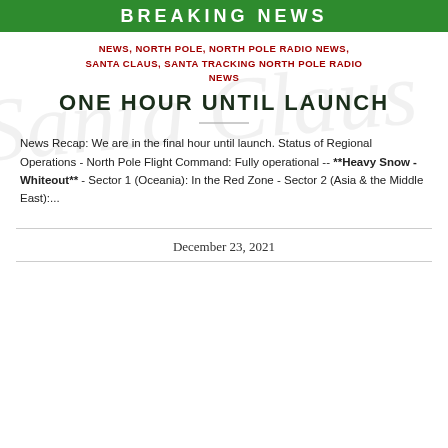BREAKING NEWS
NEWS, NORTH POLE, NORTH POLE RADIO NEWS, SANTA CLAUS, SANTA TRACKING NORTH POLE RADIO NEWS
ONE HOUR UNTIL LAUNCH
News Recap: We are in the final hour until launch. Status of Regional Operations - North Pole Flight Command: Fully operational -- **Heavy Snow - Whiteout** - Sector 1 (Oceania): In the Red Zone - Sector 2 (Asia & the Middle East):...
December 23, 2021